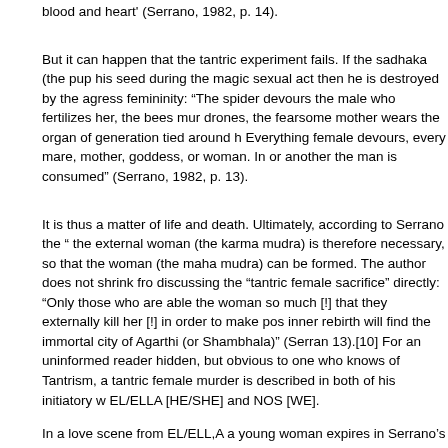blood and heart' (Serrano, 1982, p. 14).
But it can happen that the tantric experiment fails. If the sadhaka (the pup his seed during the magic sexual act then he is destroyed by the aggressfemininity: “The spider devours the male who fertilizes her, the bees murdrones, the fearsome mother wears the organ of generation tied around hEverything female devours, every mare, mother, goddess, or woman. In or another the man is consumed” (Serrano, 1982, p. 13).
It is thus a matter of life and death. Ultimately, according to Serrano the “the external woman (the karma mudra) is therefore necessary, so that thewoman (the maha mudra) can be formed. The author does not shrink frodiscussing the “tantric female sacrifice” directly: “Only those who are ablethe woman so much [!] that they externally kill her [!] in order to make posinner rebirth will find the immortal city of Agarthi (or Shambhala)” (Serran13).[10] For an uninformed reader hidden, but obvious to one who knowsof Tantrism, a tantric female murder is described in both of his initiatory wEL/ELLA [HE/SHE] and NOS [WE].
In a love scene from EL/ELL,A a young woman expires in Serrano’s armsto then re-emerge within him as an inner maha mudra. He bends over heher hair and kisses her bloody lips: “They tasted like bitter honey, and heswallowed a little of her blood” Then he suddenly sees the stigmata: “Stra[the blood] was only on her feet and the palms of her hands as if she hadcrucified. ‘Here!’, she said. She indicated her side, at breast level. A white